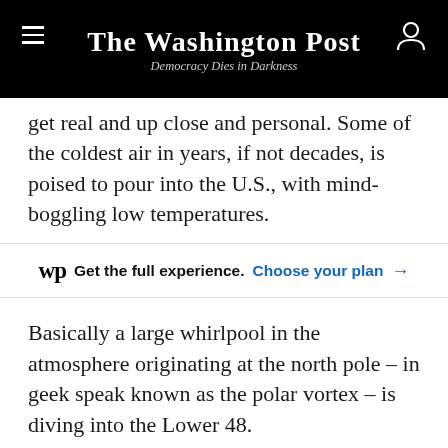The Washington Post
Democracy Dies in Darkness
get real and up close and personal. Some of the coldest air in years, if not decades, is poised to pour into the U.S., with mind-boggling low temperatures.
wp Get the full experience. Choose your plan →
Basically a large whirlpool in the atmosphere originating at the north pole – in geek speak known as the polar vortex – is diving into the Lower 48.